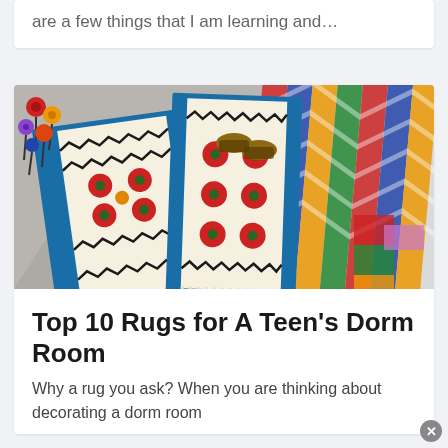are a few things that I am learning and…
[Figure (photo): A person standing on colorful patterned rugs with tassels, displaying multiple traditional/ethnic rugs with floral and geometric designs in blue, red, white, green, and orange colors spread out on a gray surface.]
Top 10 Rugs for A Teen's Dorm Room
Why a rug you ask? When you are thinking about decorating a dorm room